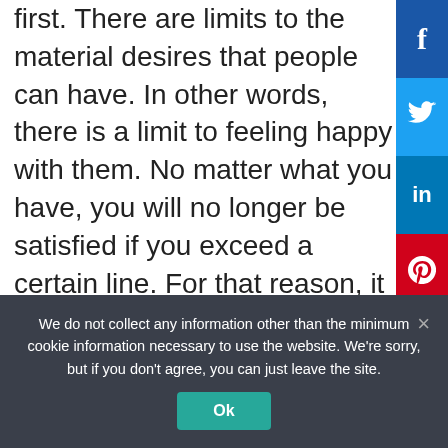first. There are limits to the material desires that people can have. In other words, there is a limit to feeling happy with them. No matter what you have, you will no longer be satisfied if you exceed a certain line. For that reason, it is important to first break free from desire itself and become free.
We do not collect any information other than the minimum cookie information necessary to use the website. We're sorry, but if you don't agree, you can just leave the site.